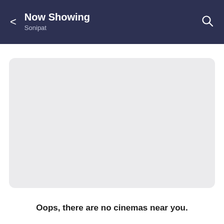Now Showing
Sonipat
[Figure (other): Empty grey placeholder card/image area with rounded corners]
Oops, there are no cinemas near you.